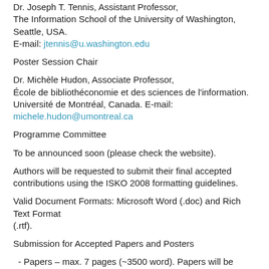Dr. Joseph T. Tennis, Assistant Professor, The Information School of the University of Washington, Seattle, USA. E-mail: jtennis@u.washington.edu
Poster Session Chair
Dr. Michèle Hudon, Associate Professor, École de bibliothéconomie et des sciences de l'information. Université de Montréal, Canada. E-mail: michele.hudon@umontreal.ca
Programme Committee
To be announced soon (please check the website).
Authors will be requested to submit their final accepted contributions using the ISKO 2008 formatting guidelines.
Valid Document Formats: Microsoft Word (.doc) and Rich Text Format (.rtf).
Submission for Accepted Papers and Posters
- Papers – max. 7 pages (~3500 word). Papers will be